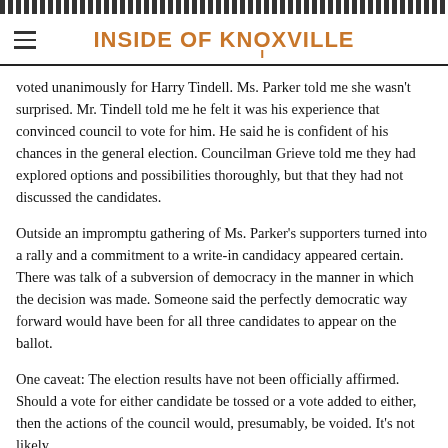INSIDE OF KNOXVILLE
voted unanimously for Harry Tindell. Ms. Parker told me she wasn't surprised. Mr. Tindell told me he felt it was his experience that convinced council to vote for him. He said he is confident of his chances in the general election. Councilman Grieve told me they had explored options and possibilities thoroughly, but that they had not discussed the candidates.
Outside an impromptu gathering of Ms. Parker's supporters turned into a rally and a commitment to a write-in candidacy appeared certain. There was talk of a subversion of democracy in the manner in which the decision was made. Someone said the perfectly democratic way forward would have been for all three candidates to appear on the ballot.
One caveat: The election results have not been officially affirmed. Should a vote for either candidate be tossed or a vote added to either, then the actions of the council would, presumably, be voided. It's not likely.